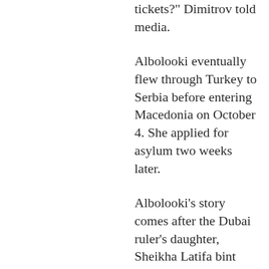tickets?" Dimitrov told media.
Albolooki eventually flew through Turkey to Serbia before entering Macedonia on October 4. She applied for asylum two weeks later.
Albolooki's story comes after the Dubai ruler's daughter, Sheikha Latifa bint Mohammed Al Maktoum, made headlines last year for reportedly trying to escape her family after claiming she was tortured and detained for